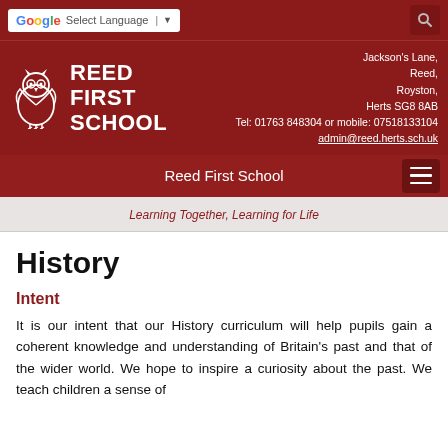Select Language | Google Translate toolbar and search icon
[Figure (logo): Reed First School logo with owl icon and school name in white text on dark red background, with address: Jackson's Lane, Reed, Royston, Herts SG8 8AB, Tel: 01763 848304 or mobile: 07518133104, admin@reed.herts.sch.uk]
Reed First School
Learning Together, Learning for Life
History
Intent
It is our intent that our History curriculum will help pupils gain a coherent knowledge and understanding of Britain's past and that of the wider world. We hope to inspire a curiosity about the past. We teach children a sense of